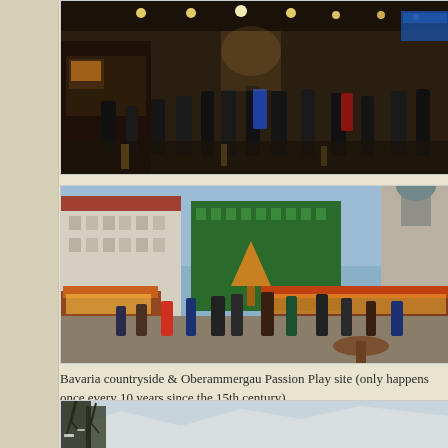[Figure (photo): Indoor crowded pedestrian shopping street at night with market stalls and illuminated ceiling, people walking on wet reflective floors]
[Figure (photo): Outdoor Christmas market in a large European town square, surrounded by historic buildings with green-lit facade, market stalls and crowds of people]
Bavaria countryside & Oberammergau Passion Play site (only happens once every 10 years since the 15th century)
[Figure (photo): Winter landscape with snow-covered mountains in the background, bare trees in the foreground, overcast sky]